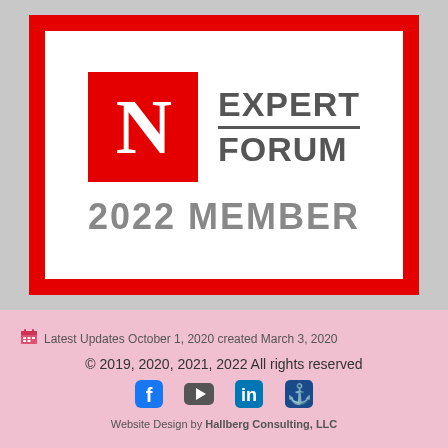[Figure (logo): Newsweek Expert Forum 2022 Member badge: red border box containing white inner box with red N logo square on left and 'EXPERT FORUM' text with divider line on right, and '2022 MEMBER' text below]
Latest Updates October 1, 2020 created March 3, 2020
© 2019, 2020, 2021, 2022 All rights reserved
Website Design by Hallberg Consulting, LLC